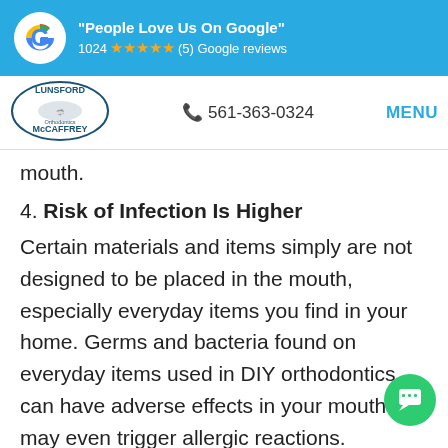[Figure (infographic): Google review banner with Google logo, 'People Love Us On Google' text, 1024 five-star Google reviews]
[Figure (logo): Lunsford McCaffrey Orthodontics logo with shark mascot]
561-363-0324
MENU
mouth.
4. Risk of Infection Is Higher
Certain materials and items simply are not designed to be placed in the mouth, especially everyday items you find in your home. Germs and bacteria found on everyday items used in DIY orthodontics can have adverse effects in your mouth or may even trigger allergic reactions. Professional orthodontists use only high-quality dental materials approved and